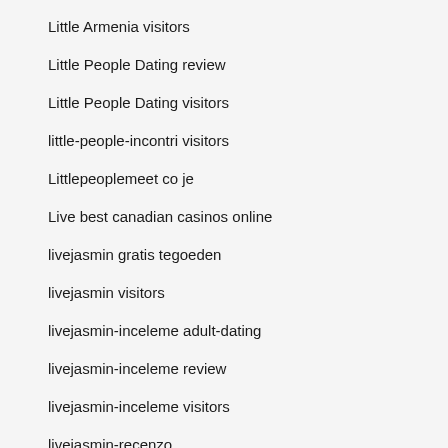Little Armenia visitors
Little People Dating review
Little People Dating visitors
little-people-incontri visitors
Littlepeoplemeet co je
Live best canadian casinos online
livejasmin gratis tegoeden
livejasmin visitors
livejasmin-inceleme adult-dating
livejasmin-inceleme review
livejasmin-inceleme visitors
livejasmin-recenzo